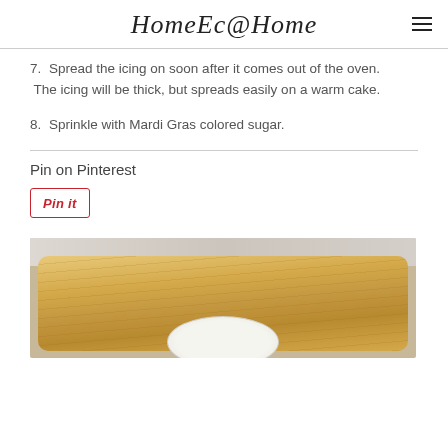HomeEc@Home
7.  Spread the icing on soon after it comes out of the oven. The icing will be thick, but spreads easily on a warm cake.
8.  Sprinkle with Mardi Gras colored sugar.
Pin on Pinterest
[Figure (screenshot): A 'Pin it' button with red text and border]
[Figure (photo): A photo of a cake on a white plate on a wooden cutting board, with a marble/stone surface in the background]